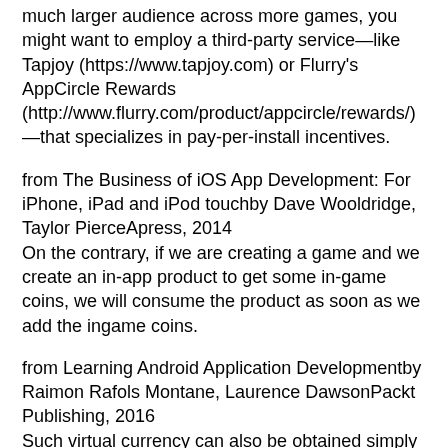much larger audience across more games, you might want to employ a third-party service—like Tapjoy (https://www.tapjoy.com) or Flurry's AppCircle Rewards (http://www.flurry.com/product/appcircle/rewards/)—that specializes in pay-per-install incentives.
from The Business of iOS App Development: For iPhone, iPad and iPod touchby Dave Wooldridge, Taylor PierceApress, 2014
On the contrary, if we are creating a game and we create an in-app product to get some in-game coins, we will consume the product as soon as we add the ingame coins.
from Learning Android Application Developmentby Raimon Rafols Montane, Laurence DawsonPackt Publishing, 2016
Such virtual currency can also be obtained simply by playing the game.
from Gamification in Education and Businessby Torsten Reiners, Lincoln C. WoodSpringer International Publishing, 2014
Do one of the following: • Download gambling